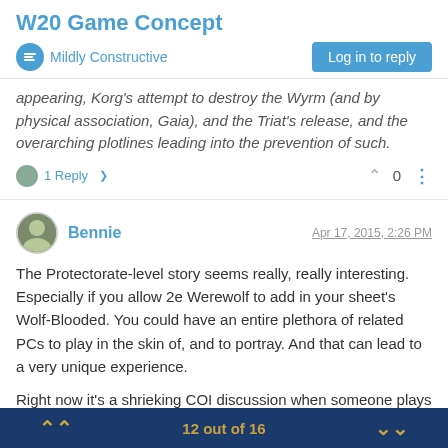W20 Game Concept
Mildly Constructive | Log in to reply
appearing, Korg's attempt to destroy the Wyrm (and by physical association, Gaia), and the Triat's release, and the overarching plotlines leading into the prevention of such.
1 Reply > ^ 0 ⋮
Bennie — Apr 17, 2015, 2:26 PM
The Protectorate-level story seems really, really interesting. Especially if you allow 2e Werewolf to add in your sheet's Wolf-Blooded. You could have an entire plethora of related PCs to play in the skin of, and to portray. And that can lead to a very unique experience.
Right now it's a shrieking COI discussion when someone plays related characters. But 2e kind of turns that on it's ear. If you could
12 out of 16